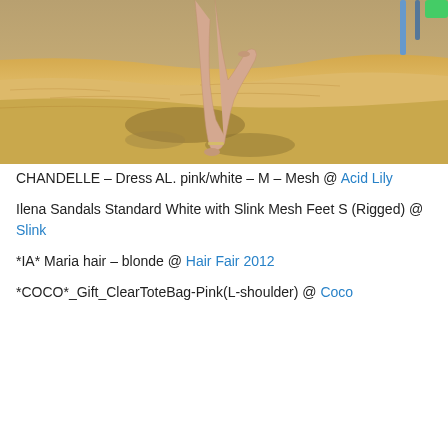[Figure (photo): A 3D rendered virtual avatar's legs walking on sandy beach terrain, with shadows on sand, partial view of beach furniture in the background]
CHANDELLE – Dress AL. pink/white – M – Mesh @ Acid Lily
Ilena Sandals Standard White with Slink Mesh Feet S (Rigged) @ Slink
*IA* Maria hair – blonde @ Hair Fair 2012
*COCO*_Gift_ClearToteBag-Pink(L-shoulder) @ Coco